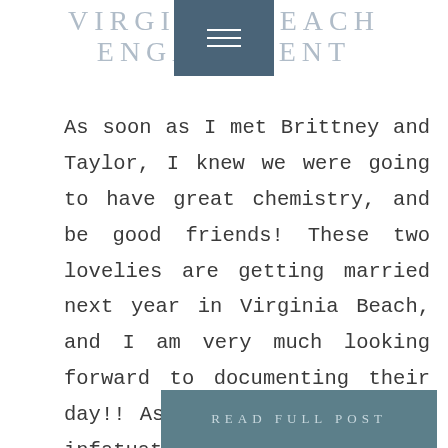VIRGINIA BEACH ENGAGEMENT
As soon as I met Brittney and Taylor, I knew we were going to have great chemistry, and be good friends! These two lovelies are getting married next year in Virginia Beach, and I am very much looking forward to documenting their day!! As you can see, they're infatuated with one another, and its so dang [...]